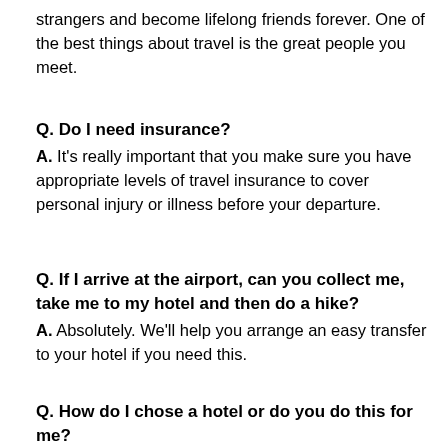strangers and become lifelong friends forever. One of the best things about travel is the great people you meet.
Q. Do I need insurance?
A. It's really important that you make sure you have appropriate levels of travel insurance to cover personal injury or illness before your departure.
Q. If I arrive at the airport, can you collect me, take me to my hotel and then do a hike?
A. Absolutely. We'll help you arrange an easy transfer to your hotel if you need this.
Q. How do I chose a hotel or do you do this for me?
A. We have a number of trusted hotels which we know. We'll find